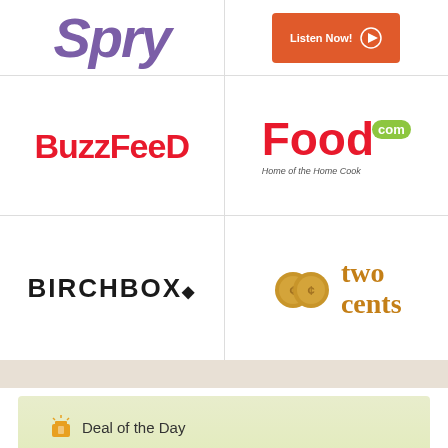[Figure (logo): Spry logo in purple italic bold text]
[Figure (logo): Listen Now button in orange]
[Figure (logo): BuzzFeed logo in red bold text]
[Figure (logo): Food.com logo with green com bubble and tagline 'Home of the Home Cook']
[Figure (logo): Birchbox logo in black uppercase with diamond]
[Figure (logo): Two cents logo with two penny coins]
[Figure (infographic): Amazon Deal of the Day ad: Starting at $5, Choose from 20+ gift options, Ends at midnight, Shop now. Green gradient background with Santa hand.]